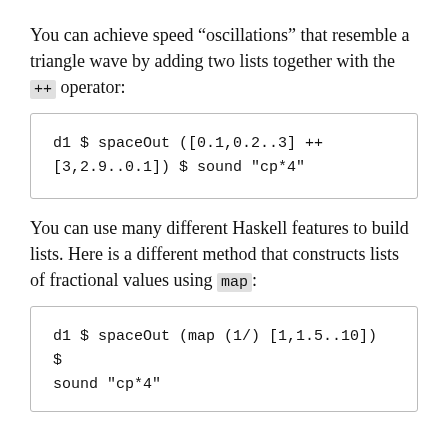You can achieve speed “oscillations” that resemble a triangle wave by adding two lists together with the ++ operator:
d1 $ spaceOut ([0.1,0.2..3] ++ [3,2.9..0.1]) $ sound "cp*4"
You can use many different Haskell features to build lists. Here is a different method that constructs lists of fractional values using map:
d1 $ spaceOut (map (1/) [1,1.5..10]) $ sound "cp*4"